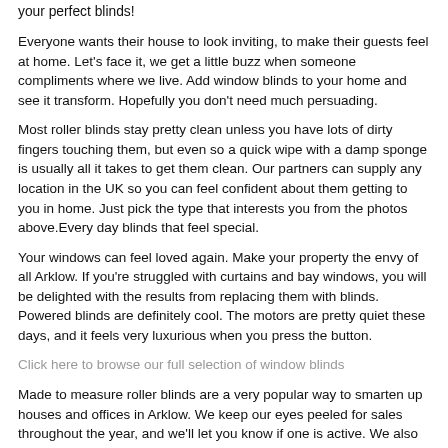your perfect blinds!
Everyone wants their house to look inviting, to make their guests feel at home. Let's face it, we get a little buzz when someone compliments where we live. Add window blinds to your home and see it transform. Hopefully you don't need much persuading.
Most roller blinds stay pretty clean unless you have lots of dirty fingers touching them, but even so a quick wipe with a damp sponge is usually all it takes to get them clean. Our partners can supply any location in the UK so you can feel confident about them getting to you in home. Just pick the type that interests you from the photos above.Every day blinds that feel special.
Your windows can feel loved again. Make your property the envy of all Arklow. If you're struggled with curtains and bay windows, you will be delighted with the results from replacing them with blinds. Powered blinds are definitely cool. The motors are pretty quiet these days, and it feels very luxurious when you press the button.
Click here to browse our full selection of window blinds
Made to measure roller blinds are a very popular way to smarten up houses and offices in Arklow. We keep our eyes peeled for sales throughout the year, and we'll let you know if one is active. We also do our best to keep prices generally low every day so you can be confident we have your best interests at heart.